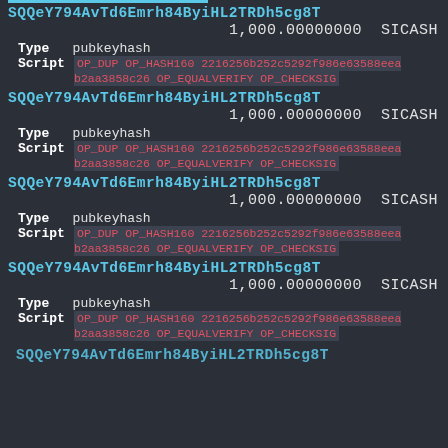SQQeY794AvTd6Emrh84ByiHL2TRDh5cg8T
1,000.00000000 SICASH
Type  pubkeyhash
Script  OP_DUP OP_HASH160 2216256b252c5292f986e63588eeab2aa3858c26 OP_EQUALVERIFY OP_CHECKSIG
SQQeY794AvTd6Emrh84ByiHL2TRDh5cg8T
1,000.00000000 SICASH
Type  pubkeyhash
Script  OP_DUP OP_HASH160 2216256b252c5292f986e63588eeab2aa3858c26 OP_EQUALVERIFY OP_CHECKSIG
SQQeY794AvTd6Emrh84ByiHL2TRDh5cg8T
1,000.00000000 SICASH
Type  pubkeyhash
Script  OP_DUP OP_HASH160 2216256b252c5292f986e63588eeab2aa3858c26 OP_EQUALVERIFY OP_CHECKSIG
SQQeY794AvTd6Emrh84ByiHL2TRDh5cg8T
1,000.00000000 SICASH
Type  pubkeyhash
Script  OP_DUP OP_HASH160 2216256b252c5292f986e63588eeab2aa3858c26 OP_EQUALVERIFY OP_CHECKSIG
SQQeY794AvTd6Emrh84ByiHL2TRDh5cg8T (partial)